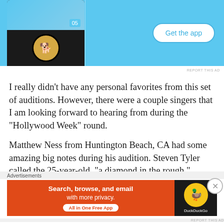[Figure (screenshot): Mobile app advertisement banner with blue background showing a phone mockup and 'Get the app' button]
REPORT THIS AD
I really didn't have any personal favorites from this set of auditions. However, there were a couple singers that I am looking forward to hearing from during the “Hollywood Week” round.
Matthew Ness from Huntington Beach, CA had some amazing big notes during his audition. Steven Tyler called the 25-year-old, “a diamond in the rough.”
Stefano Langone, the 21-year-old from Kent, WA
Advertisements
[Figure (screenshot): DuckDuckGo advertisement: Search, browse, and email with more privacy. All in One Free App]